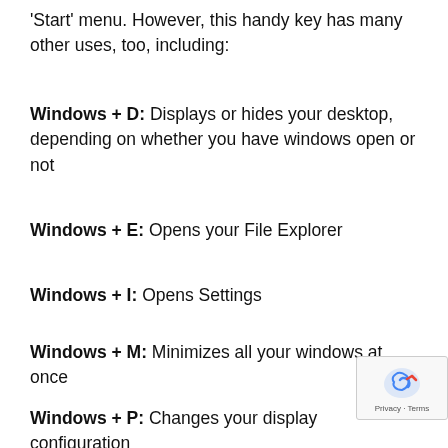'Start' menu. However, this handy key has many other uses, too, including:
Windows + D: Displays or hides your desktop, depending on whether you have windows open or not
Windows + E: Opens your File Explorer
Windows + I: Opens Settings
Windows + M: Minimizes all your windows at once
Windows + P: Changes your display configuration